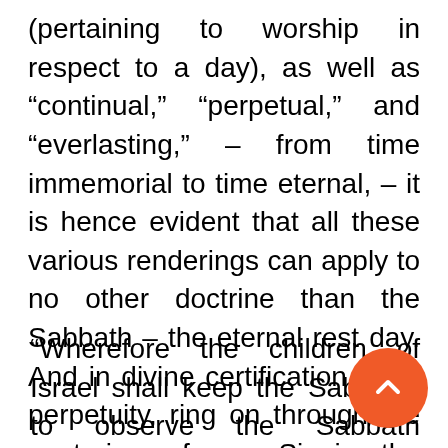(pertaining to worship in respect to a day), as well as “continual,” “perpetual,” and “everlasting,” – from time immemorial to time eternal, – it is hence evident that all these various renderings can apply to no other doctrine than the Sabbath – the eternal rest day. And in divine certification of its perpetuity, ring on through the centuries from Sinai the immutable words:
“Wherefore the children of Israel shall keep the Sabbath, to observe the Sabbath throughout their generations for a perpetual covenant. It is a sign